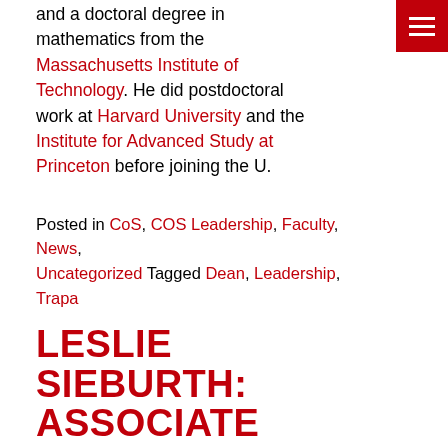and a doctoral degree in mathematics from the Massachusetts Institute of Technology. He did postdoctoral work at Harvard University and the Institute for Advanced Study at Princeton before joining the U.
Posted in CoS, COS Leadership, Faculty, News, Uncategorized Tagged Dean, Leadership, Trapa
LESLIE SIEBURTH: ASSOCIATE DEAN
The College of Science is pleased to announce the appointment of Professor Leslie Sieburth from the School of Biological Sciences as the new Associate Dean of Research in the College of Science, effective July 1, 2019.
Sieburth received her Ph.D. in Botany from the University of